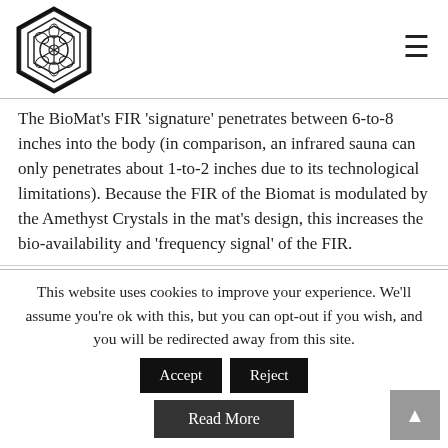[Figure (logo): Decorative hexagonal mandala/snowflake logo in black and white]
The BioMat's FIR 'signature' penetrates between 6-to-8 inches into the body (in comparison, an infrared sauna can only penetrates about 1-to-2 inches due to its technological limitations). Because the FIR of the Biomat is modulated by the Amethyst Crystals in the mat's design, this increases the bio-availability and 'frequency signal' of the FIR.
The BioMat's negative ion therapy is another vital aspect of
This website uses cookies to improve your experience. We'll assume you're ok with this, but you can opt-out if you wish, and you will be redirected away from this site.